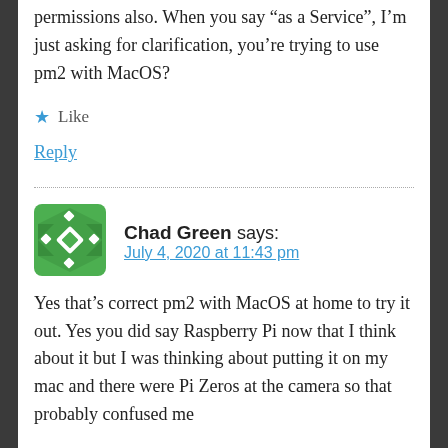permissions also. When you say “as a Service”, I’m just asking for clarification, you’re trying to use pm2 with MacOS?
★ Like
Reply
Chad Green says:
July 4, 2020 at 11:43 pm
Yes that’s correct pm2 with MacOS at home to try it out. Yes you did say Raspberry Pi now that I think about it but I was thinking about putting it on my mac and there were Pi Zeros at the camera so that probably confused me